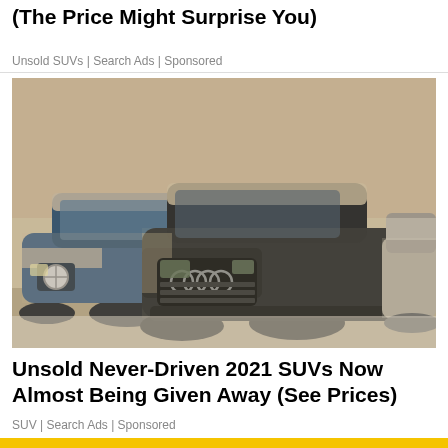(The Price Might Surprise You)
Unsold SUVs | Search Ads | Sponsored
[Figure (photo): Dusty unsold SUVs parked in a warehouse or lot, including a blue BMW X5 on the left and a dark Audi Q7 in the center, all covered in dust/snow.]
Unsold Never-Driven 2021 SUVs Now Almost Being Given Away (See Prices)
SUV | Search Ads | Sponsored